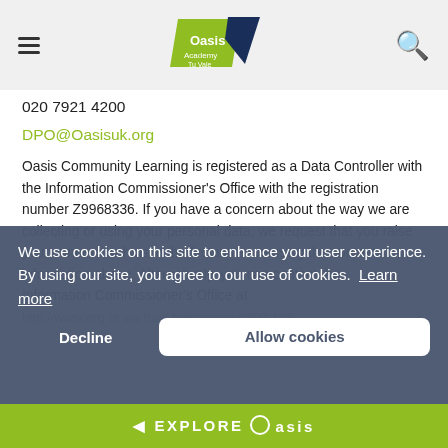Oasis Academy Tu Vale — navigation header with logo, hamburger menu, and search icon
020 7921 4200
DPO@Oasisuk.org
Oasis Community Learning is registered as a Data Controller with the Information Commissioner's Office with the registration number Z9968336. If you have a concern about the way we are collecting or using your personal data, we request that you raise your concern with us in the first instance using the contact information above. Alternatively, you can contact the Information Commissioner's Office at http://www.org or via their helpline on 0303 123
We use cookies on this site to enhance your user experience. By using our site, you agree to our use of cookies. Learn more
Decline   Allow cookies
◄ EXPLORE Oasis